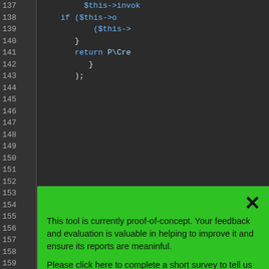[Figure (screenshot): Code editor screenshot showing PHP lines 137-143 with syntax highlighting on dark background, and a green popup overlay with a close X button and two paragraphs of feedback text.]
This tool is currently proof-of-concept. Your feedback and evaluation is valuable in helping to improve it and ensure its reports are meaninful.
Please click here to complete a short survey to tell us what you think. It should take less than 5 minutes and help further this research project!